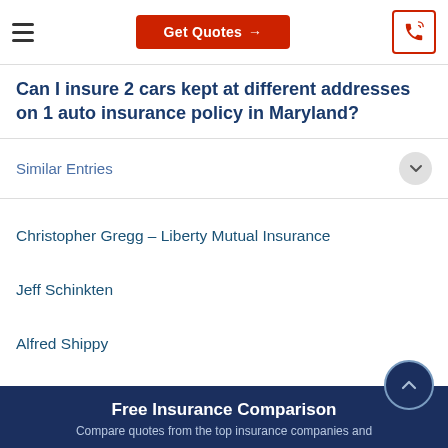Get Quotes →
Can I insure 2 cars kept at different addresses on 1 auto insurance policy in Maryland?
Similar Entries
Christopher Gregg – Liberty Mutual Insurance
Jeff Schinkten
Alfred Shippy
Charles Van Fossan
Free Insurance Comparison
Compare quotes from the top insurance companies and